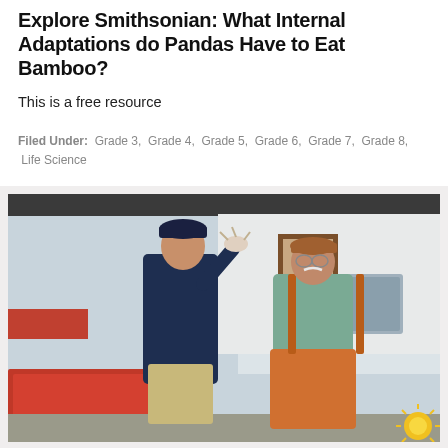Explore Smithsonian: What Internal Adaptations do Pandas Have to Eat Bamboo?
This is a free resource
Filed Under: Grade 3, Grade 4, Grade 5, Grade 6, Grade 7, Grade 8, Life Science
[Figure (photo): Two men standing on a dock or boat. The man on the left wears a dark navy shirt, khaki pants, and a cap, and is holding up a small crab or marine creature. The man on the right wears a light teal shirt with orange waders/overalls and glasses. There is a red bin/crate to the lower left, and a white boat structure in the background. A small yellow sun logo appears in the lower right corner.]